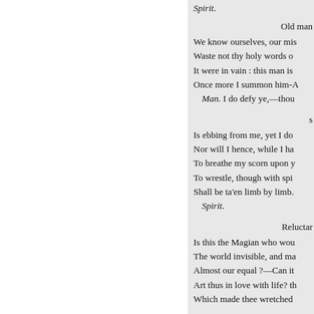Spirit.
Old man
We know ourselves, our mis
Waste not thy holy words o
It were in vain : this man is
Once more I summon him-A
Man. I do defy ye,—thou
s
Is ebbing from me, yet I do
Nor will I hence, while I ha
To breathe my scorn upon y
To wrestle, though with spi
Shall be ta'en limb by limb.
Spirit.
Reluctar
Is this the Magian who wou
The world invisible, and ma
Almost our equal ?—Can it
Art thus in love with life? th
Which made thee wretched
« Previous